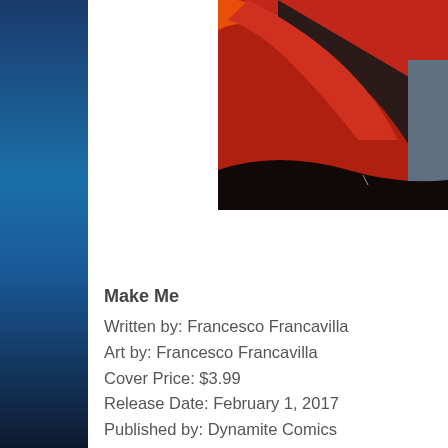[Figure (illustration): Comic book cover art showing a stylized figure with red and dark tones, orange background visible at top, partial view cropped at right side of page]
Make Me
Written by: Francesco Francavilla
Art by: Francesco Francavilla
Cover Price: $3.99
Release Date: February 1, 2017
Published by: Dynamite Comics
Review by: Jeremy Daw